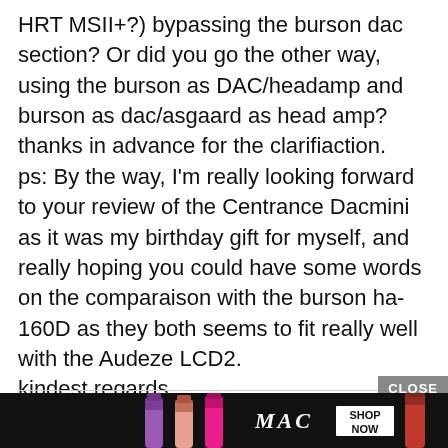HRT MSII+?) bypassing the burson dac section? Or did you go the other way, using the burson as DAC/headamp and burson as dac/asgaard as head amp?
thanks in advance for the clarifiaction.
ps: By the way, I'm really looking forward to your review of the Centrance Dacmini as it was my birthday gift for myself, and really hoping you could have some words on the comparaison with the burson ha-160D as they both seems to fit really well with the Audeze LCD2.
kindest regards.
Quentin
[Figure (infographic): MAC Cosmetics advertisement banner showing colorful lipsticks (purple, peach, pink, red), MAC logo in italic script, and a SHOP NOW button. A CLOSE button appears above the banner.]